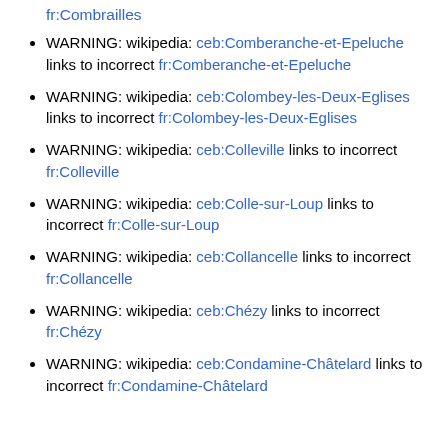fr:Combrailles
WARNING: wikipedia: ceb:Comberanche-et-Epeluche links to incorrect fr:Comberanche-et-Epeluche
WARNING: wikipedia: ceb:Colombey-les-Deux-Eglises links to incorrect fr:Colombey-les-Deux-Eglises
WARNING: wikipedia: ceb:Colleville links to incorrect fr:Colleville
WARNING: wikipedia: ceb:Colle-sur-Loup links to incorrect fr:Colle-sur-Loup
WARNING: wikipedia: ceb:Collancelle links to incorrect fr:Collancelle
WARNING: wikipedia: ceb:Chézy links to incorrect fr:Chézy
WARNING: wikipedia: ceb:Condamine-Châtelard links to incorrect fr:Condamine-Châtelard